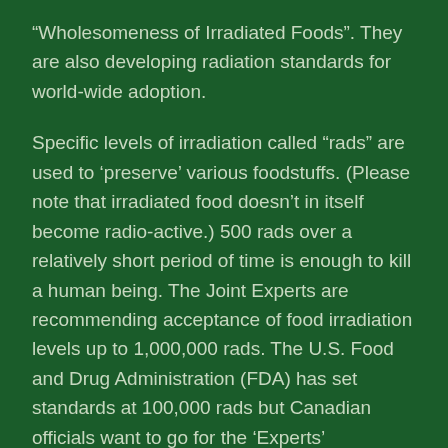“Wholesomeness of Irradiated Foods”. They are also developing radiation standards for world-wide adoption.
Specific levels of irradiation called “rads” are used to ‘preserve’ various foodstuffs. (Please note that irradiated food doesn’t in itself become radio-active.) 500 rads over a relatively short period of time is enough to kill a human being. The Joint Experts are recommending acceptance of food irradiation levels up to 1,000,000 rads. The U.S. Food and Drug Administration (FDA) has set standards at 100,000 rads but Canadian officials want to go for the ‘Experts’ recommendations, not that either of healthy.
There have been a number of studies done over the